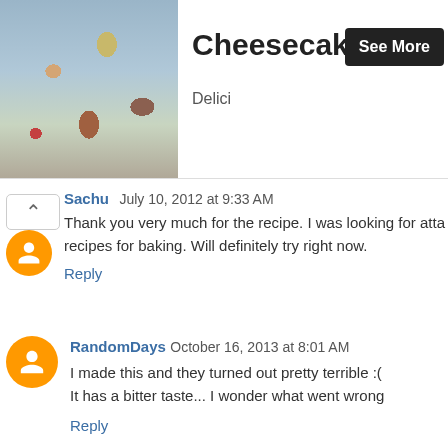[Figure (photo): Advertisement banner showing cheesecakes in jars with a 'See More' button]
Sachu July 10, 2012 at 9:33 AM — Thank you very much for the recipe. I was looking for atta recipes for baking. Will definitely try right now. Reply
RandomDays October 16, 2013 at 8:01 AM — I made this and they turned out pretty terrible :( It has a bitter taste... I wonder what went wrong Reply
Replies — Divya Kudua October 18, 2013 at 9:14 AM — I think the bitter taste could be due to baking soda which might have gone stale.Hope you try it